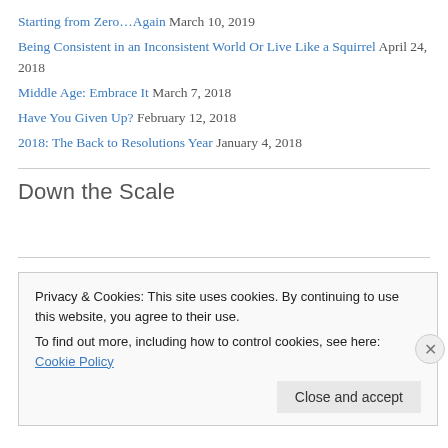Starting from Zero…Again March 10, 2019
Being Consistent in an Inconsistent World Or Live Like a Squirrel April 24, 2018
Middle Age: Embrace It March 7, 2018
Have You Given Up? February 12, 2018
2018:  The Back to Resolutions Year January 4, 2018
Down the Scale
Privacy & Cookies: This site uses cookies. By continuing to use this website, you agree to their use.
To find out more, including how to control cookies, see here: Cookie Policy